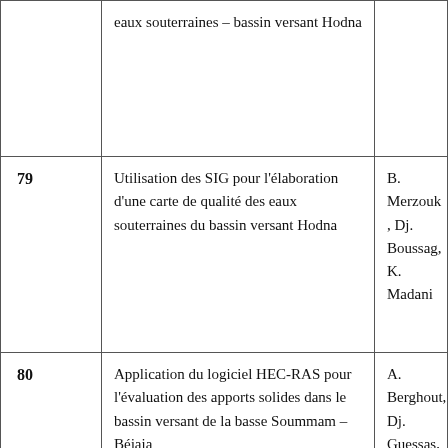| # | Title | Authors |
| --- | --- | --- |
|  | eaux souterraines – bassin versant Hodna |  |
| 79 | Utilisation des SIG pour l'élaboration d'une carte de qualité des eaux souterraines du bassin versant Hodna | B. Merzouk , Dj. Boussag, K. Madani |
| 80 | Application du logiciel HEC-RAS pour l'évaluation des apports solides dans le bassin versant de la basse Soummam – Béjaia | A. Berghout, Dj. Guessas, B. Merzouk |